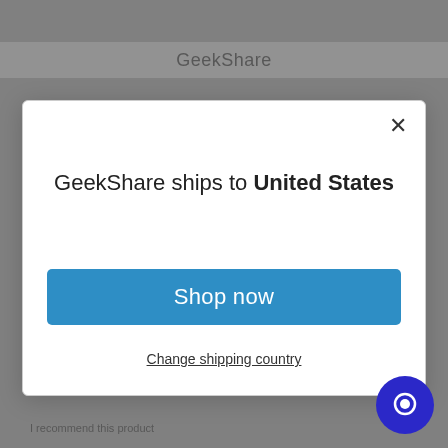GeekShare
GeekShare ships to United States
Shop in USD $
Get shipping options for United States
Shop now
Change shipping country
perfect. The design case was really cute and both came in great condition.
I recommend this product